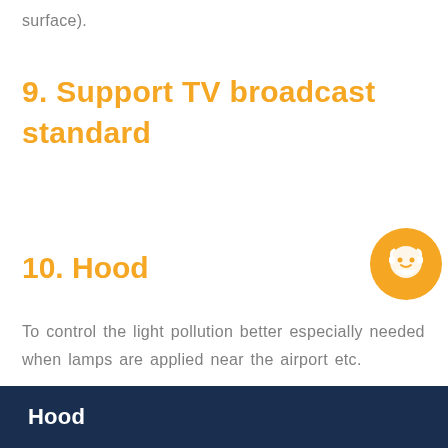surface).
9. Support TV broadcast standard
10. Hood
[Figure (illustration): Orange circular chat/support icon with a smiley face wearing headphones]
To control the light pollution better especially needed when lamps are applied near the airport etc.
Hood